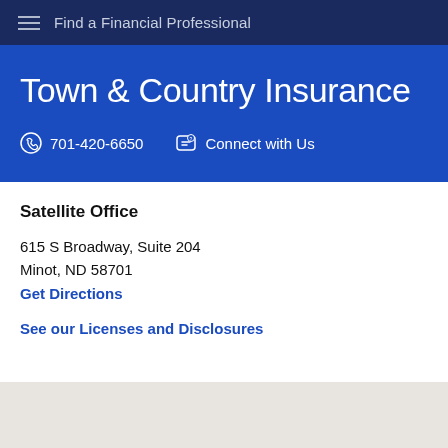Find a Financial Professional
Town & Country Insurance
701-420-6650   Connect with Us
Satellite Office
615 S Broadway, Suite 204
Minot, ND 58701
Get Directions
See our Licenses and Disclosures
[Figure (map): Map area placeholder showing a light grey background]